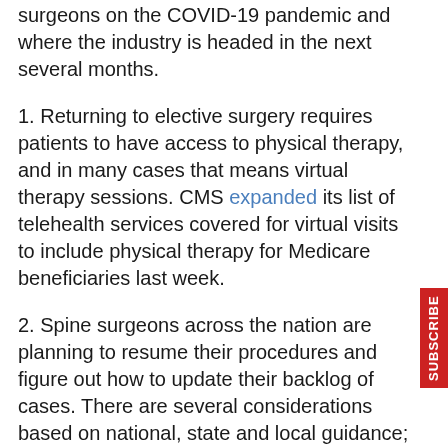surgeons on the COVID-19 pandemic and where the industry is headed in the next several months.
1. Returning to elective surgery requires patients to have access to physical therapy, and in many cases that means virtual therapy sessions. CMS expanded its list of telehealth services covered for virtual visits to include physical therapy for Medicare beneficiaries last week.
2. Spine surgeons across the nation are planning to resume their procedures and figure out how to update their backlog of cases. There are several considerations based on national, state and local guidance; however, as COVID-19 tests become available, surgeons will be able to accelerate their case load.
"Pending testing capacity, it is our